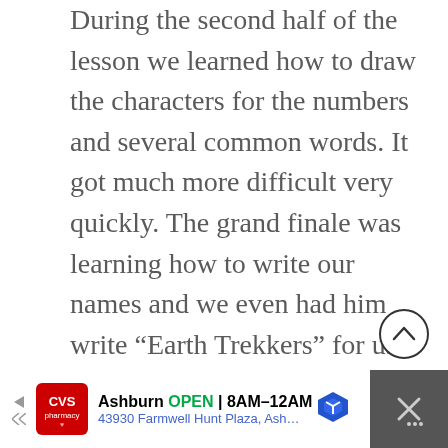During the second half of the lesson we learned how to draw the characters for the numbers and several common words. It got much more difficult very quickly. The grand finale was learning how to write our names and we even had him write “Earth Trekkers” for us.
[Figure (other): Scroll-to-top button: circle with upward chevron arrow]
[Figure (other): Advertisement bar: CVS Pharmacy ad showing Ashburn location, OPEN 8AM-12AM, 43930 Farmwell Hunt Plaza, Ash... with map icon and close button]